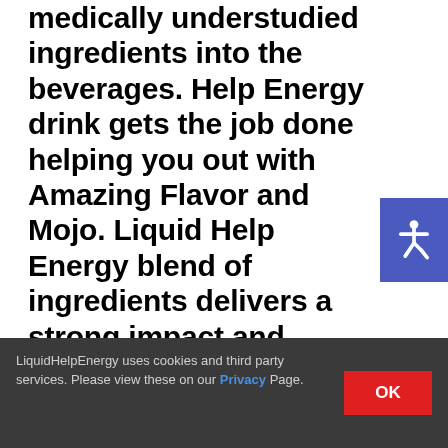medically understudied ingredients into the beverages. Help Energy drink gets the job done helping you out with Amazing Flavor and Mojo. Liquid Help Energy blend of ingredients delivers a strong impact and efficacy to help your day or night run smoothly, kicking you into high speed. The Shake That Frooty® flavor consists of a
[Figure (other): Accessibility icon button — white wheelchair symbol on blue/indigo background]
LiquidHelpEnergy uses cookies and third party services. Please view these on our Privacy Page. [OK button]